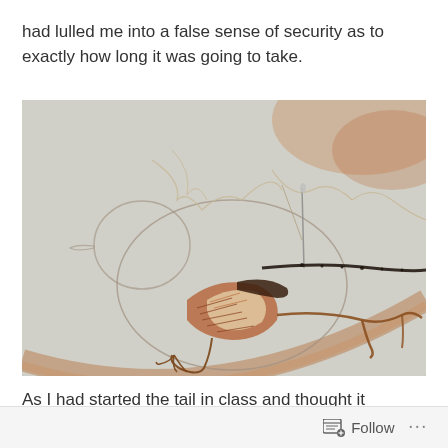had lulled me into a false sense of security as to exactly how long it was going to take.
[Figure (photo): Close-up photograph of an embroidery hoop showing a partially completed bird embroidery on light grey fabric. The bird's body outline is sketched in thread, with the wing/breast area filled in with brown, white, and dark brown stitching. Loose thread and a needle are visible on the fabric.]
As I had started the tail in class and thought it
Follow ...